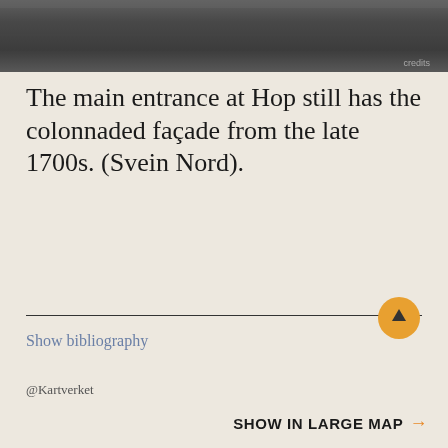[Figure (photo): Dark photograph strip showing colonnaded façade at Hop, grayscale, cropped partial view at top of page]
The main entrance at Hop still has the colonnaded façade from the late 1700s. (Svein Nord).
Show bibliography
@Kartverket
SHOW IN LARGE MAP →